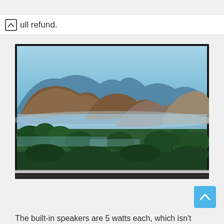...ull refund.
[Figure (photo): A landscape photograph displayed on a TV/monitor screen showing misty mountains and lush green tropical vegetation in the foreground, with bluish-hazy rocky formations in the background.]
The built-in speakers are 5 watts each, which isn't